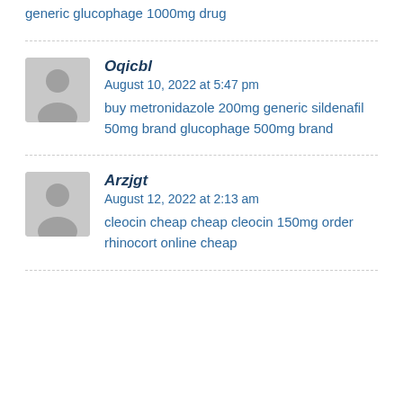generic glucophage 1000mg drug
Oqicbl
August 10, 2022 at 5:47 pm
buy metronidazole 200mg generic sildenafil 50mg brand glucophage 500mg brand
Arzjgt
August 12, 2022 at 2:13 am
cleocin cheap cheap cleocin 150mg order rhinocort online cheap